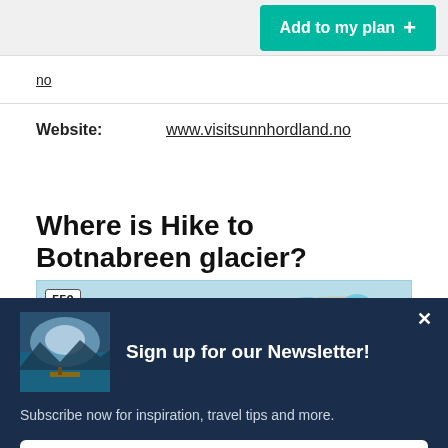Add to my plan +
no
Website: www.visitsunnhordland.no
Where is Hike to Botnabreen glacier?
[Figure (map): Map showing location with route marker labeled 550]
Sign up for our Newsletter!
Subscribe now for inspiration, travel tips and more.
Subscribe now